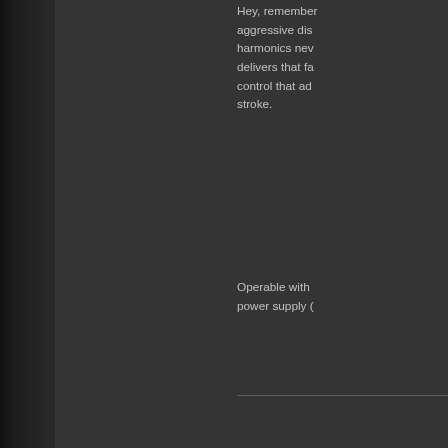Hey, remember aggressive dis harmonics nev delivers that fa control that ad stroke.
Operable with power supply (
[Figure (screenshot): Tweet button with Twitter bird icon, blue pill-shaped button]
[Figure (screenshot): Dark box/widget outline in lower right area]